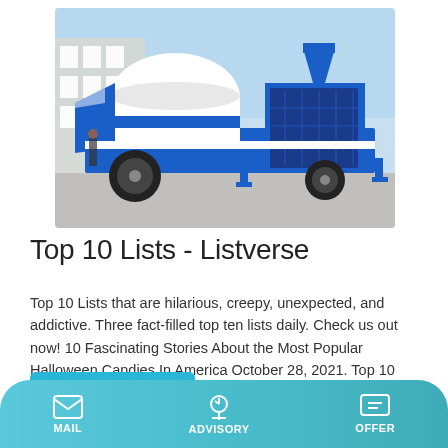[Figure (photo): Blue and white industrial concrete pump truck/machine parked on a paved surface with a building in the background]
Top 10 Lists - Listverse
Top 10 Lists that are hilarious, creepy, unexpected, and addictive. Three fact-filled top ten lists daily. Check us out now! 10 Fascinating Stories About the Most Popular Halloween Candies In America October 28, 2021. Top 10 Lists. Random List. Movies and TV Top 10 Worst Cinematic Predictions of the Future. John Munoz.
Learn More
MAIL   ADVISORY   OFFER